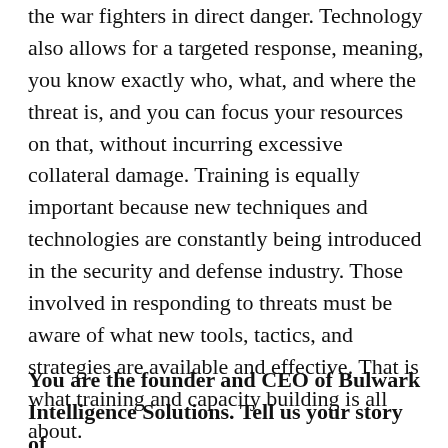the war fighters in direct danger. Technology also allows for a targeted response, meaning, you know exactly who, what, and where the threat is, and you can focus your resources on that, without incurring excessive collateral damage. Training is equally important because new techniques and technologies are constantly being introduced in the security and defense industry. Those involved in responding to threats must be aware of what new tools, tactics, and strategies are available and effective. That is what training and capacity building is all about.
You are the founder and CEO of Bulwark Intelligence Solutions. Tell us your story of